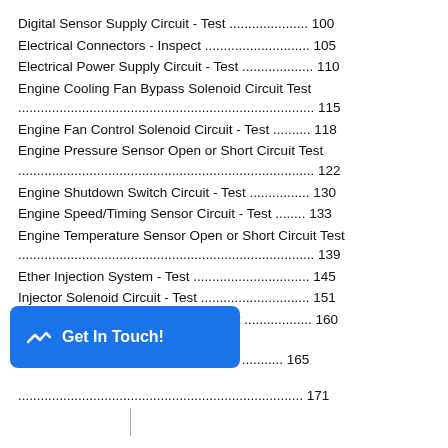Digital Sensor Supply Circuit - Test .................... 100
Electrical Connectors - Inspect .......................... 105
Electrical Power Supply Circuit - Test .................. 110
Engine Cooling Fan Bypass Solenoid Circuit Test ...................................................................... 115
Engine Fan Control Solenoid Circuit - Test .......... 118
Engine Pressure Sensor Open or Short Circuit Test ...................................................................... 122
Engine Shutdown Switch Circuit - Test ................ 130
Engine Speed/Timing Sensor Circuit - Test ........ 133
Engine Temperature Sensor Open or Short Circuit Test ...................................................................... 139
Ether Injection System - Test .............................. 145
Injector Solenoid Circuit - Test ............................ 151
Throttle Position Sensor Circuit - Test .................. 160
Calibration Procedures
...g Sensor - Calibrate .......... 165
........................................................................... 171